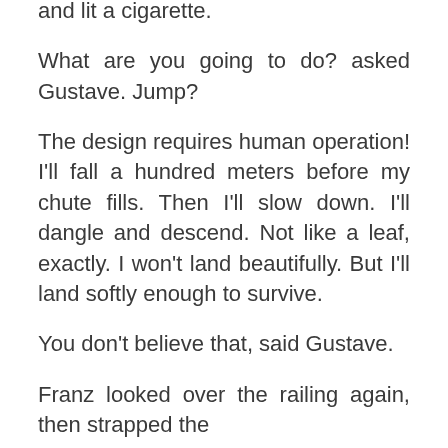and lit a cigarette.
What are you going to do? asked Gustave. Jump?
The design requires human operation! I'll fall a hundred meters before my chute fills. Then I'll slow down. I'll dangle and descend. Not like a leaf, exactly. I won't land beautifully. But I'll land softly enough to survive.
You don't believe that, said Gustave.
Franz looked over the railing again, then strapped the